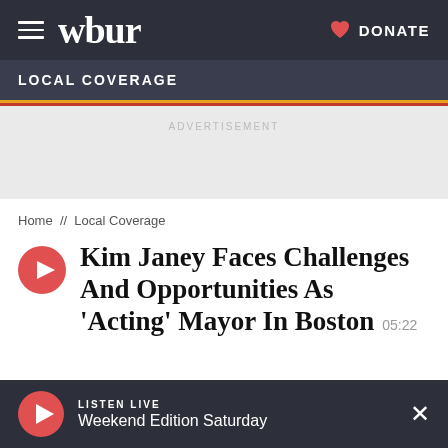WBUR  DONATE
LOCAL COVERAGE
ADVERTISEMENT
Home // Local Coverage
Kim Janey Faces Challenges And Opportunities As 'Acting' Mayor In Boston  05:22
LISTEN LIVE  Weekend Edition Saturday